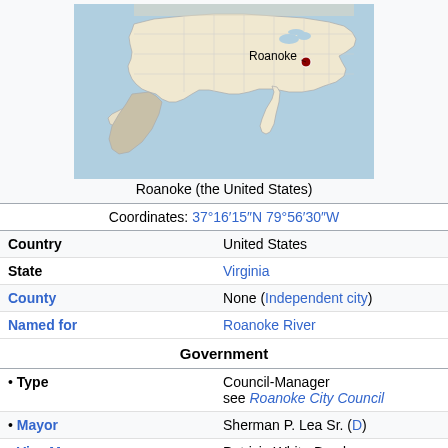[Figure (map): Map of the United States with a red dot marking the location of Roanoke, Virginia.]
Roanoke (the United States)
| Coordinates: | 37°16′15″N 79°56′30″W |
| Country | United States |
| State | Virginia |
| County | None (Independent city) |
| Named for | Roanoke River |
| Government |  |
| • Type | Council-Manager
see Roanoke City Council |
| • Mayor | Sherman P. Lea Sr. (D) |
| • Vice Mayor | Patricia White-Boyd |
| Area[1] |  |
| • Independent city | 42.85 sq mi (110.99 km²) |
| • Land | 42.52 sq mi (110.13 km²) |
| • Water | 0.33 sq mi (0.86 km²) |